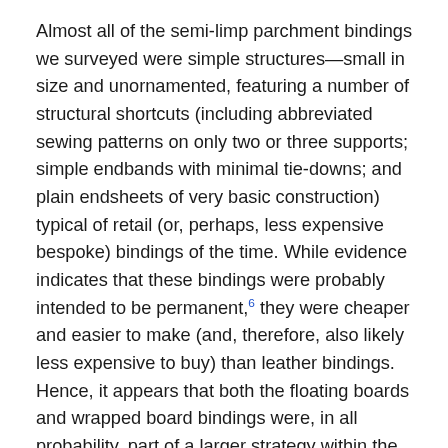Almost all of the semi-limp parchment bindings we surveyed were simple structures—small in size and unornamented, featuring a number of structural shortcuts (including abbreviated sewing patterns on only two or three supports; simple endbands with minimal tie-downs; and plain endsheets of very basic construction) typical of retail (or, perhaps, less expensive bespoke) bindings of the time. While evidence indicates that these bindings were probably intended to be permanent,⁶ they were cheaper and easier to make (and, therefore, also likely less expensive to buy) than leather bindings. Hence, it appears that both the floating boards and wrapped board bindings were, in all probability, part of a larger strategy within the early modern book industry aimed at binding more books for a bigger audience quickly without going broke.